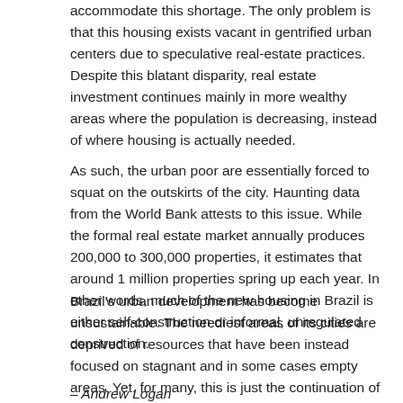accommodate this shortage. The only problem is that this housing exists vacant in gentrified urban centers due to speculative real-estate practices. Despite this blatant disparity, real estate investment continues mainly in more wealthy areas where the population is decreasing, instead of where housing is actually needed.
As such, the urban poor are essentially forced to squat on the outskirts of the city. Haunting data from the World Bank attests to this issue. While the formal real estate market annually produces 200,000 to 300,000 properties, it estimates that around 1 million properties spring up each year. In other words, much of the new housing in Brazil is either self-construction or informal, unregulated construction.
Brazil's urban development has become unsustainable. The neediest areas of its cities are deprived of resources that have been instead focused on stagnant and in some cases empty areas. Yet, for many, this is just the continuation of the historical status quo. As empty houses continue to rise in city centers, impoverished Brazilians will continue to suffer.
– Andrew Logan